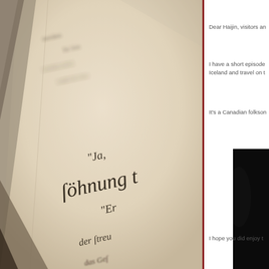[Figure (photo): Close-up sepia-toned photograph of an old open book with Gothic/Fraktur German script text. The text visible includes 'söhnung', '"Ja,', '"Er', 'der streu', 'das', 'Zwei', 'Söhnung' and other partial words. The book page is aged and yellowed, shot at an angle with shallow depth of field.]
Dear Haijin, visitors an
I have a short episode Iceland and travel on t
It's a Canadian folkson
[Figure (photo): Dark, partially visible photograph on the right side of the page, mostly black with partial silhouette visible.]
I hope you did enjoy t